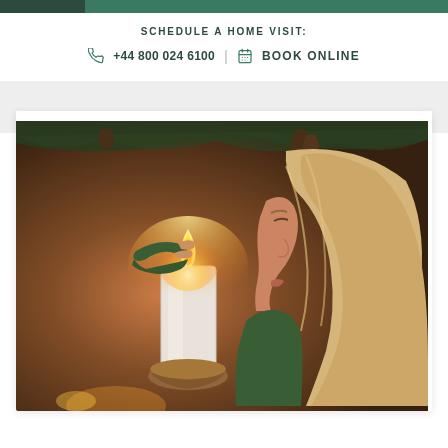SCHEDULE A HOME VISIT:
+44 800 024 6100  |  BOOK ONLINE
[Figure (photo): A blonde woman in a green sweater holding a lit white pillar candle in a wooden holder, with pine branches visible in the background. Warm candlelight illuminates the scene.]